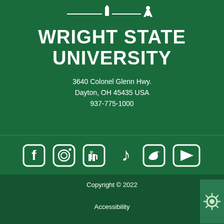[Figure (logo): Wright State University logo with torch and silhouette figure]
WRIGHT STATE UNIVERSITY
3640 Colonel Glenn Hwy.
Dayton, OH 45435 USA
937-775-1000
[Figure (infographic): Social media icons: Facebook, Instagram, LinkedIn, TikTok, Twitter, YouTube]
Copyright © 2022
Accessibility
Accreditation
Privacy
Title IX